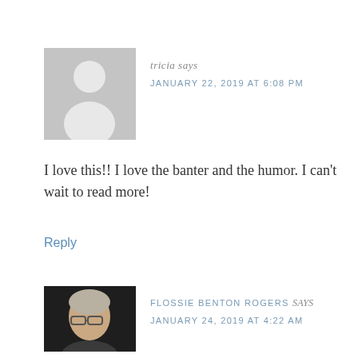[Figure (photo): Gray placeholder avatar icon (silhouette of a person on gray background)]
tricia says
JANUARY 22, 2019 AT 6:08 PM
I love this!! I love the banter and the humor. I can't wait to read more!
Reply
[Figure (photo): Photo of Flossie Benton Rogers, an older woman with glasses and light hair, dark background]
FLOSSIE BENTON ROGERS says
JANUARY 24, 2019 AT 4:22 AM